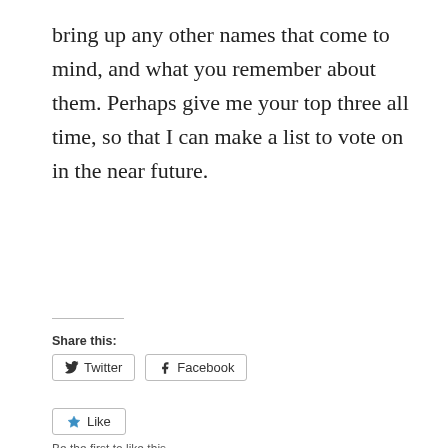bring up any other names that come to mind, and what you remember about them. Perhaps give me your top three all time, so that I can make a list to vote on in the near future.
Share this:
Twitter
Facebook
Like
Be the first to like this.
RELATED
More On The New WBZ-FM
Free Advice for WBZ-FM